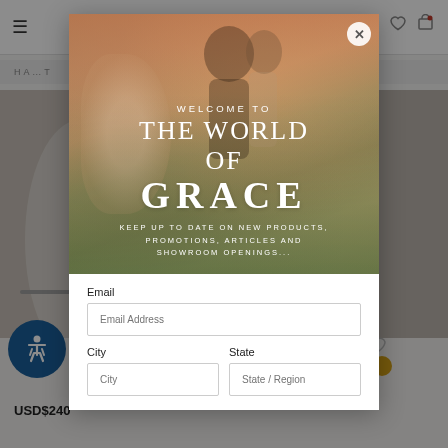[Figure (screenshot): Website background showing navigation header with hamburger menu and icons, breadcrumb navigation, product images on left and right sides, accessibility button, and price USD$240]
[Figure (photo): Modal popup overlay showing a wedding couple embracing at sunset with a bouquet, with text overlay reading WELCOME TO THE WORLD OF GRACE]
WELCOME TO THE WORLD OF GRACE
KEEP UP TO DATE ON NEW PRODUCTS, PROMOTIONS, ARTICLES AND SHOWROOM OPENINGS...
Email
Email Address
City
City
State
State / Region